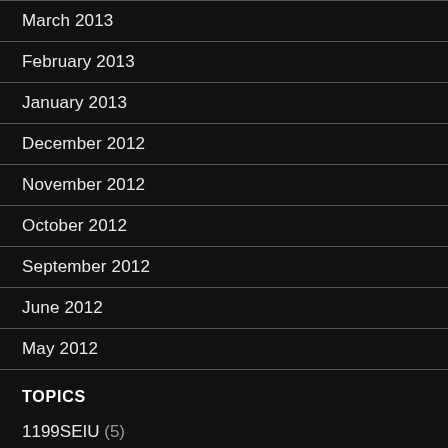March 2013
February 2013
January 2013
December 2012
November 2012
October 2012
September 2012
June 2012
May 2012
TOPICS
1199SEIU (5)